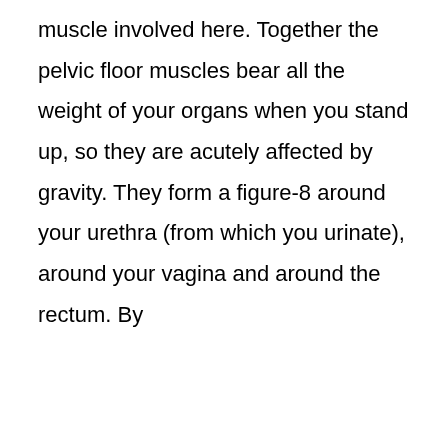muscle involved here. Together the pelvic floor muscles bear all the weight of your organs when you stand up, so they are acutely affected by gravity. They form a figure-8 around your urethra (from which you urinate), around your vagina and around the rectum. By